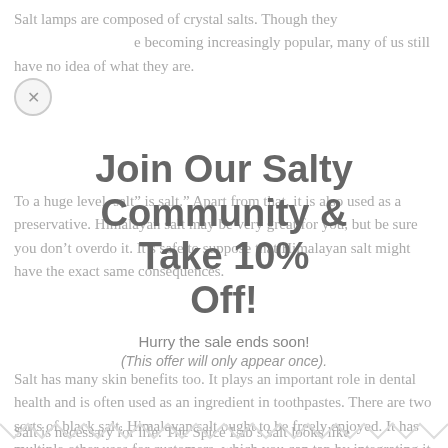Salt lamps are composed of crystal salts. Though they are becoming increasingly popular, many of us still have no idea of what they are.
To a huge level, salt” is salt.” Apart from that, it is also used as a preservative. Himalayan salt may be very great for you, but be sure you don’t overdo it. It’s safe to suppose that Himalayan salt might have the exact same consequences.
Salt has many skin benefits too. It plays an important role in dental health and is often used as an ingredient in toothpastes. There are two sorts of black salt. Himalayan salt ought to be freely enjoyed. It has multiple other uses for customers, which you can tap by integrating it with other natural approaches. It is necessary that you donat add an excessive amount of salt.
[Figure (infographic): Popup overlay with text: Join Our Salty Community & Take 10% Off! Hurry the sale ends soon! (This offer will only appear once).]
Salt is necessary for life. The Spice Lab’s salt looks like